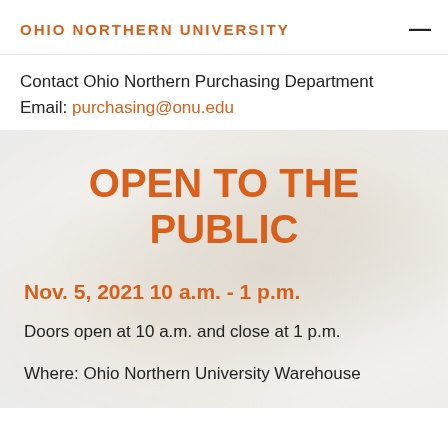OHIO NORTHERN UNIVERSITY
Contact Ohio Northern Purchasing Department
Email: purchasing@onu.edu
OPEN TO THE PUBLIC
Nov. 5, 2021 10 a.m. - 1 p.m.
Doors open at 10 a.m. and close at 1 p.m.
Where: Ohio Northern University Warehouse